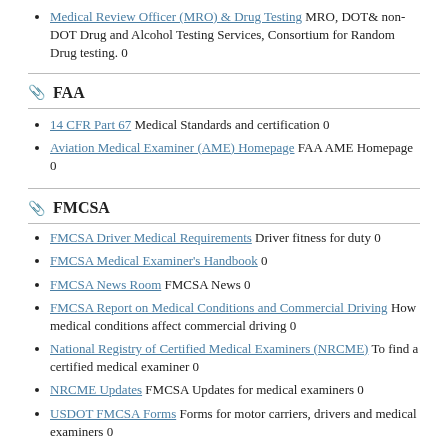Medical Review Officer (MRO) & Drug Testing MRO, DOT& non-DOT Drug and Alcohol Testing Services, Consortium for Random Drug testing. 0
FAA
14 CFR Part 67 Medical Standards and certification 0
Aviation Medical Examiner (AME) Homepage FAA AME Homepage 0
FMCSA
FMCSA Driver Medical Requirements Driver fitness for duty 0
FMCSA Medical Examiner's Handbook 0
FMCSA News Room FMCSA News 0
FMCSA Report on Medical Conditions and Commercial Driving How medical conditions affect commercial driving 0
National Registry of Certified Medical Examiners (NRCME) To find a certified medical examiner 0
NRCME Updates FMCSA Updates for medical examiners 0
USDOT FMCSA Forms Forms for motor carriers, drivers and medical examiners 0
Medical Certification Requirements